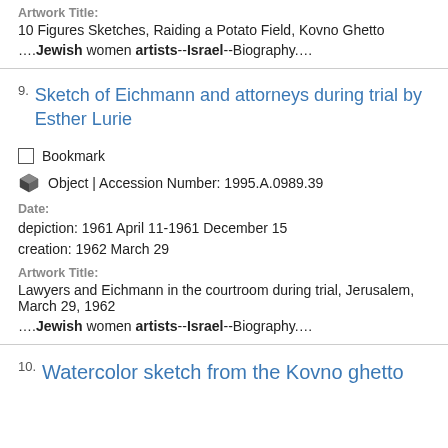Artwork Title: 10 Figures Sketches, Raiding a Potato Field, Kovno Ghetto
....Jewish women artists--Israel--Biography....
9. Sketch of Eichmann and attorneys during trial by Esther Lurie
Bookmark
Object | Accession Number: 1995.A.0989.39
Date: depiction: 1961 April 11-1961 December 15  creation: 1962 March 29
Artwork Title: Lawyers and Eichmann in the courtroom during trial, Jerusalem, March 29, 1962
....Jewish women artists--Israel--Biography....
10. Watercolor sketch from the Kovno ghetto